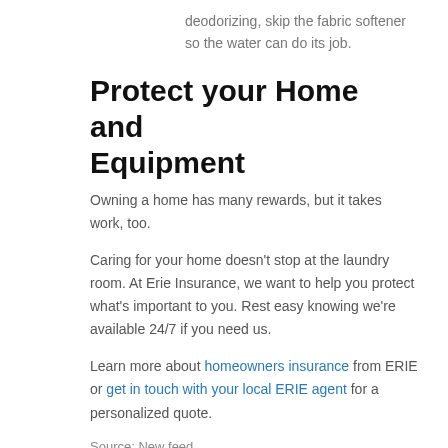deodorizing, skip the fabric softener so the water can do its job.
Protect your Home and Equipment
Owning a home has many rewards, but it takes work, too.
Caring for your home doesn’t stop at the laundry room. At Erie Insurance, we want to help you protect what’s important to you. Rest easy knowing we’re available 24/7 if you need us.
Learn more about homeowners insurance from ERIE or get in touch with your local ERIE agent for a personalized quote.
Source: New feed